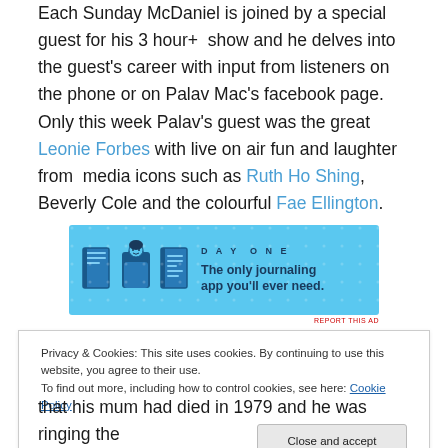Each Sunday McDaniel is joined by a special guest for his 3 hour+ show and he delves into the guest's career with input from listeners on the phone or on Palav Mac's facebook page. Only this week Palav's guest was the great Leonie Forbes with live on air fun and laughter from media icons such as Ruth Ho Shing, Beverly Cole and the colourful Fae Ellington.
[Figure (other): Advertisement banner for Day One journaling app. Blue background with illustrated icons of a book, person, and journal. Text reads: DAY ONE - The only journaling app you'll ever need.]
Privacy & Cookies: This site uses cookies. By continuing to use this website, you agree to their use. To find out more, including how to control cookies, see here: Cookie Policy
that his mum had died in 1979 and he was ringing the